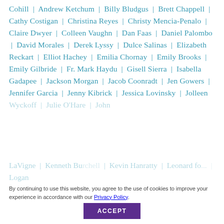Cohill | Andrew Ketchum | Billy Bludgus | Brett Chappell | Cathy Costigan | Christina Reyes | Christy Mencia-Penalo | Claire Dwyer | Colleen Vaughn | Dan Faas | Daniel Palombo | David Morales | Derek Lyssy | Dulce Salinas | Elizabeth Reckart | Elliot Hachey | Emilia Chornay | Emily Brooks | Emily Gilbride | Fr. Mark Haydu | Gisell Sierra | Isabella Gadapee | Jackson Morgan | Jacob Coonradt | Jen Gowers | Jennifer Garcia | Jenny Kibrick | Jessica Lovinsky | Jolleen [faded: Wyckoff | Julie O'Hare | John | LaVigne | Kenneth Burchell | Kevin Hanratty | Leonard fo... | Logan ...]
By continuing to use this website, you agree to the use of cookies to improve your experience in accordance with our Privacy Policy.